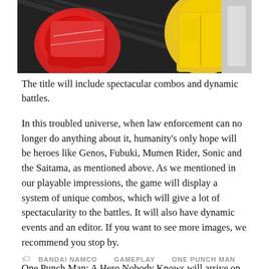[Figure (photo): Cropped anime-style illustration showing a red fist on the left and a yellow-suited character on the right against a dark background]
The title will include spectacular combos and dynamic battles.
In this troubled universe, when law enforcement can no longer do anything about it, humanity's only hope will be heroes like Genos, Fubuki, Mumen Rider, Sonic and the Saitama, as mentioned above. As we mentioned in our playable impressions, the game will display a system of unique combos, which will give a lot of spectacularity to the battles. It will also have dynamic events and an editor. If you want to see more images, we recommend you stop by.
One Punch Man: A Hero Nobody Knows will arrive on Xbox One, PS4 and PC in 2020.
BANDAI NAMCO   GAMEPLAY   ONE PUNCH MAN